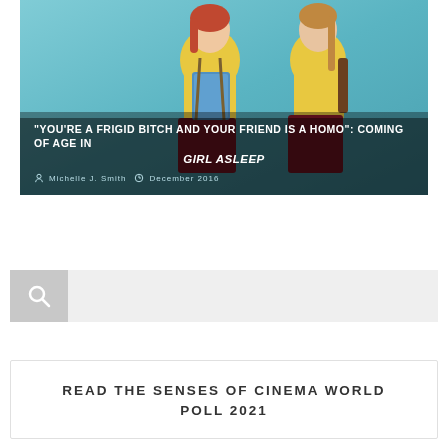[Figure (photo): Two young women/girls in yellow shirts and dark red/maroon skirts standing against a teal/blue background, one holding a blue folder/binder]
"YOU'RE A FRIGID BITCH AND YOUR FRIEND IS A HOMO": COMING OF AGE IN GIRL ASLEEP
Michelle J. Smith   December 2016
[Figure (screenshot): Search bar with grey search icon button on left and light grey input field on right]
READ THE SENSES OF CINEMA WORLD POLL 2021